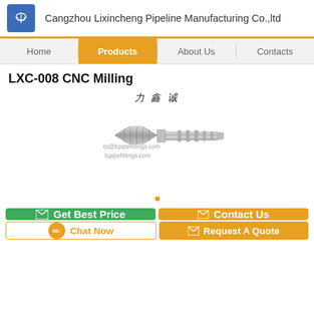Cangzhou Lixincheng Pipeline Manufacturing Co.,ltd
Home | Products | About Us | Contacts
LXC-008 CNC Milling
[Figure (photo): CNC milled stainless steel hose barb fitting / pipe connector with hex nut end, with Chinese brand text 力鑫诚 and watermark lcpipefittings.com]
Get Best Price
Contact Us
Chat Now
Request A Quote